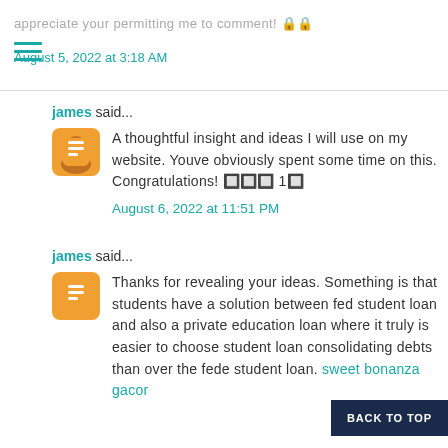appreciate your permitting me to comment! 🔒🔒
August 5, 2022 at 3:18 AM
james said...
A thoughtful insight and ideas I will use on my website. Youve obviously spent some time on this. Congratulations! 🔲🔲🔲 1🔲
August 6, 2022 at 11:51 PM
james said...
Thanks for revealing your ideas. Something is that students have a solution between fed student loan and also a private education loan where it truly is easier to choose student loan consolidating debts than over the fede student loan. sweet bonanza gacor